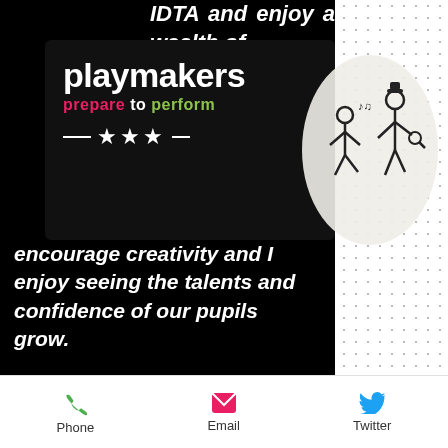[Figure (logo): Playmakers logo: dark box with 'playmakers' in white bold text, 'prepare to perform' tagline with red/white/green coloring, three stars with horizontal lines, and stick figure illustration]
IDTA and enjoy a wealth of a wide drama n is to encourage creativity and I enjoy seeing the talents and confidence of our pupils grow.
Salli Gage
PERFORMING ARTS TUTOR
Since graduating from
Phone
Email
Twitter